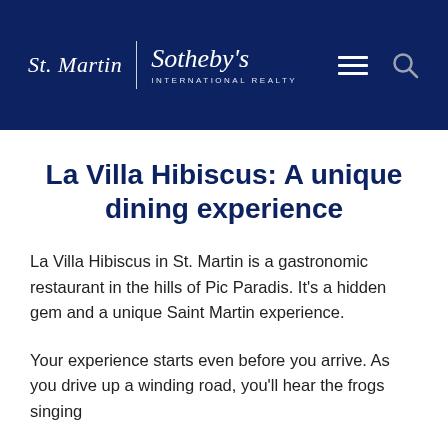St. Martin | Sotheby's INTERNATIONAL REALTY
La Villa Hibiscus: A unique dining experience
La Villa Hibiscus in St. Martin is a gastronomic restaurant in the hills of Pic Paradis. It's a hidden gem and a unique Saint Martin experience.
Your experience starts even before you arrive. As you drive up a winding road, you'll hear the frogs singing